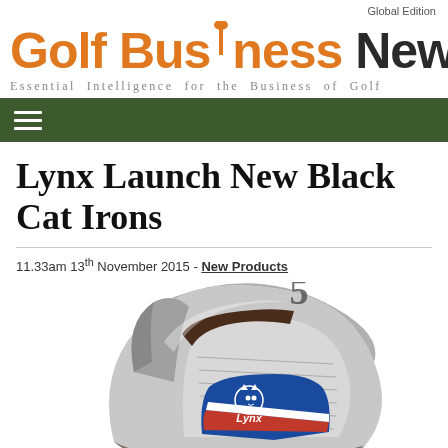Global Edition
[Figure (logo): Golf Business News logo with orange 'Golf' text, tee icon replacing 'i', and white 'Business News' text on white background, with tagline 'Essential Intelligence for the Business of Golf']
Navigation hamburger menu bar (dark green background)
Lynx Launch New Black Cat Irons
11.33am 13th November 2015 - New Products
[Figure (photo): Close-up photo of a Lynx golf iron club head (number 5 iron), silver/chrome body with dark brown/black accents, blue badge with Lynx cat logo and red/white stripe detail]